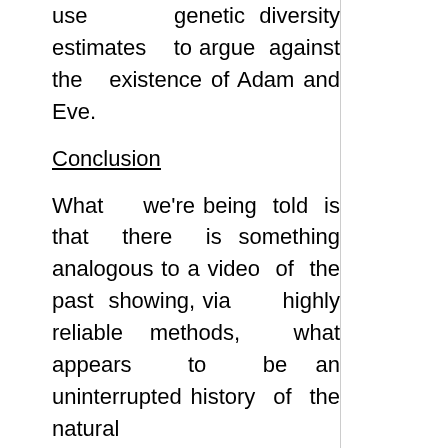use genetic diversity estimates to argue against the existence of Adam and Eve.
Conclusion
What we're being told is that there is something analogous to a video of the past showing, via highly reliable methods, what appears to be an uninterrupted history of the natural evolution of